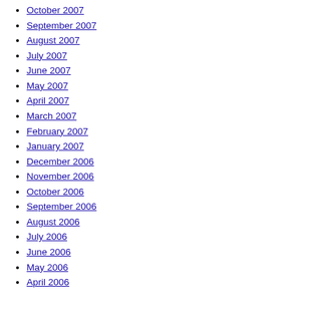October 2007
September 2007
August 2007
July 2007
June 2007
May 2007
April 2007
March 2007
February 2007
January 2007
December 2006
November 2006
October 2006
September 2006
August 2006
July 2006
June 2006
May 2006
April 2006